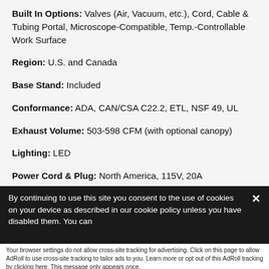Built In Options: Valves (Air, Vacuum, etc.), Cord, Cable & Tubing Portal, Microscope-Compatible, Temp.-Controllable Work Surface
Region: U.S. and Canada
Base Stand: Included
Conformance: ADA, CAN/CSA C22.2, ETL, NSF 49, UL
Exhaust Volume: 503-598 CFM (with optional canopy)
Lighting: LED
Power Cord & Plug: North America, 115V, 20A
By continuing to use this site you consent to the use of cookies on your device as described in our cookie policy unless you have disabled them. You can
Accept and Close ✕
Your browser settings do not allow cross-site tracking for advertising. Click on this page to allow AdRoll to use cross-site tracking to tailor ads to you. Learn more or opt out of this AdRoll tracking by clicking here. This message only appears once.